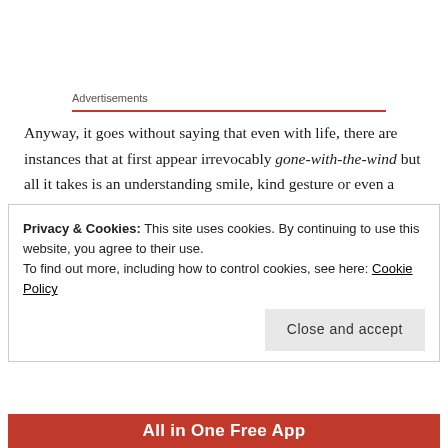Advertisements
Anyway, it goes without saying that even with life, there are instances that at first appear irrevocably gone-with-the-wind but all it takes is an understanding smile, kind gesture or even a cheery compliment to lift another person out the seemingly bottomless pit of despondency.
For who knows what awaits us if only we try, try, try again. 🙂
[Figure (other): Handwritten cursive signature reading 'Nedoux.']
Privacy & Cookies: This site uses cookies. By continuing to use this website, you agree to their use.
To find out more, including how to control cookies, see here: Cookie Policy
Close and accept
All in One Free App